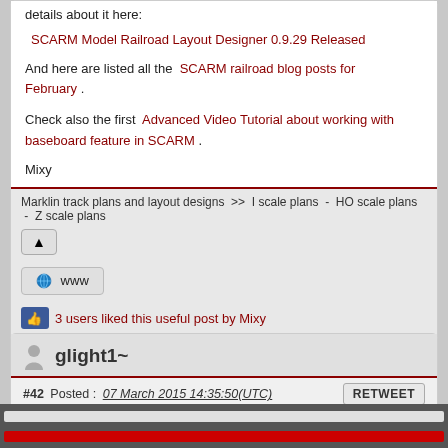details about it here:
SCARM Model Railroad Layout Designer 0.9.29 Released
And here are listed all the SCARM railroad blog posts for February .
Check also the first Advanced Video Tutorial about working with baseboard feature in SCARM .
Mixy
Marklin track plans and layout designs  >>  I scale plans  -  HO scale plans  -  Z scale plans
3 users liked this useful post by Mixy
xxup , Bigdaddynz , Irish Rail
glight1~
#42  Posted :  07 March 2015 14:35:50(UTC)